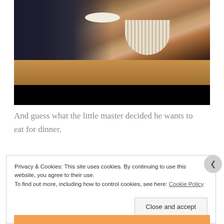[Figure (photo): A child eating at a dining table with a striped bowl containing food and a spoon, and a plate nearby. The scene is warmly lit with wooden table surface visible.]
And guess what the little master decided he wants to eat for dinner.
Privacy & Cookies: This site uses cookies. By continuing to use this website, you agree to their use.
To find out more, including how to control cookies, see here: Cookie Policy
Close and accept